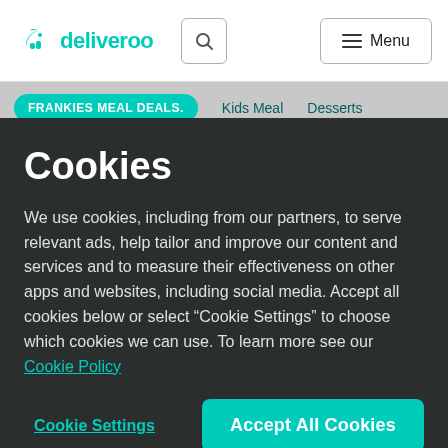[Figure (logo): Deliveroo logo with kangaroo icon and search/menu buttons in white header bar]
FRANKIES MEAL DEALS. | Kids Meal | Desserts
Cookies
We use cookies, including from our partners, to serve relevant ads, help tailor and improve our content and services and to measure their effectiveness on other apps and websites, including social media. Accept all cookies below or select “Cookie Settings” to choose which cookies we can use. To learn more see our Cookie Policy
Cookie Settings
Accept All Cookies